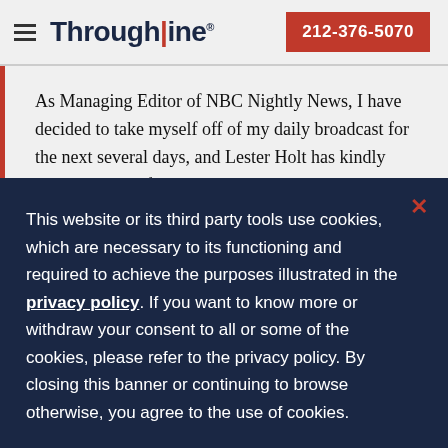Throughline  212-376-5070
As Managing Editor of NBC Nightly News, I have decided to take myself off of my daily broadcast for the next several days, and Lester Holt has kindly agreed to sit in for me to allow us to
This website or its third party tools use cookies, which are necessary to its functioning and required to achieve the purposes illustrated in the privacy policy. If you want to know more or withdraw your consent to all or some of the cookies, please refer to the privacy policy. By closing this banner or continuing to browse otherwise, you agree to the use of cookies.